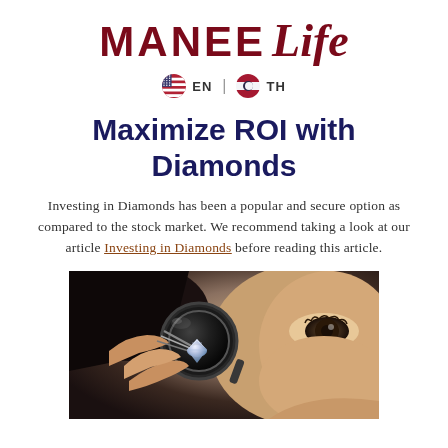MANEE Life
🇺🇸 EN | 🇹🇭 TH
Maximize ROI with Diamonds
Investing in Diamonds has been a popular and secure option as compared to the stock market. We recommend taking a look at our article Investing in Diamonds before reading this article.
[Figure (photo): Close-up photo of a person examining a diamond with a loupe/magnifier, holding the diamond with tweezers]